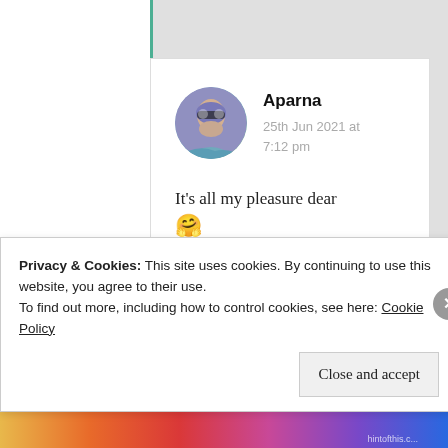[Figure (photo): Circular avatar photo of Aparna, a person wearing glasses]
Aparna
25th Jun 2021 at 7:12 pm
It's all my pleasure dear 🤗
★ Liked by 1 person
Privacy & Cookies: This site uses cookies. By continuing to use this website, you agree to their use.
To find out more, including how to control cookies, see here: Cookie Policy
Close and accept